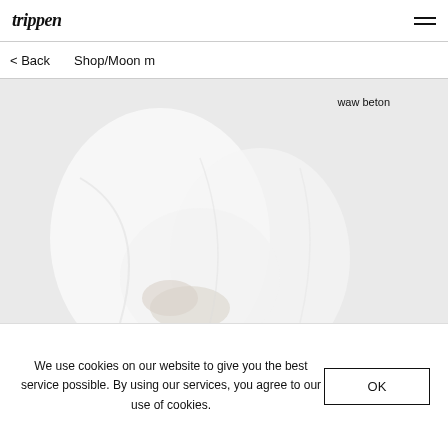trippen
< Back   Shop/Moon m
[Figure (photo): Product photo showing white fabric/garment with soft lighting on light grey background. Text overlay reads 'waw beton' in upper right.]
We use cookies on our website to give you the best service possible. By using our services, you agree to our use of cookies.